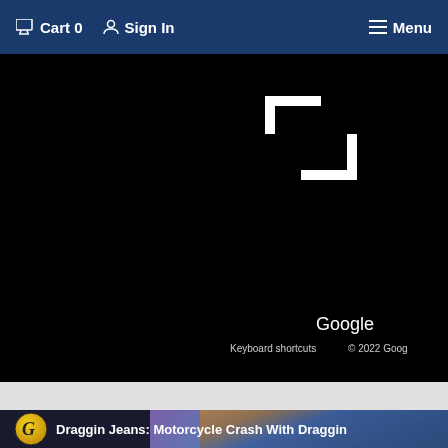Cart 0  Sign In  Menu
[Figure (screenshot): Google Maps embedded view showing a mostly black/dark map area with white corner bracket indicators for a location marker, and Google branding and copyright notice at the bottom right.]
[Figure (screenshot): Video thumbnail strip showing a Draggin Jeans logo (yellow/black G icon) and the title 'Draggin Jeans: Motorcycle Crash With Draggin' with a denim jeans background image.]